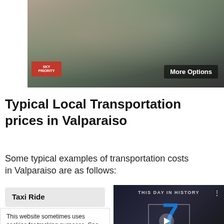[Figure (photo): Aerial view of a crowded airport terminal with many people, with a red Sky Priority banner visible and a 'More Options' button overlay]
Typical Local Transportation prices in Valparaiso
Some typical examples of transportation costs in Valparaiso are as follows:
Taxi Ride
This website sometimes uses cookies for tracking purposes. See our privacy policy for more details.
[Figure (screenshot): Video thumbnail showing 'This Day in History' with the number 7 in blue and the word AUGUST, with play button and video controls]